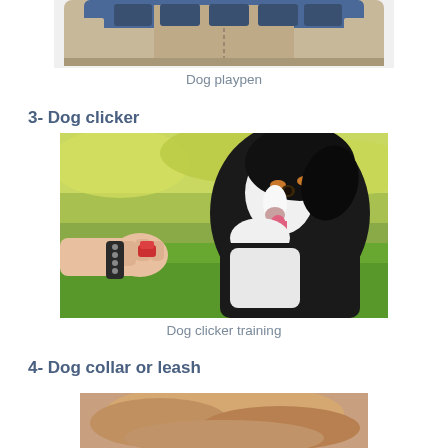[Figure (photo): Partial view of a dog playpen, octagonal shape, blue and tan/beige fabric, cropped at top of page]
Dog playpen
3- Dog clicker
[Figure (photo): A black, white and tan Australian Shepherd dog with tongue out being trained with a clicker held by a human hand with a bracelet, outdoors on green grass with blurred yellow-green foliage in the background]
Dog clicker training
4- Dog collar or leash
[Figure (photo): Partial view of a dog, cropped at bottom of page, warm brown tones]